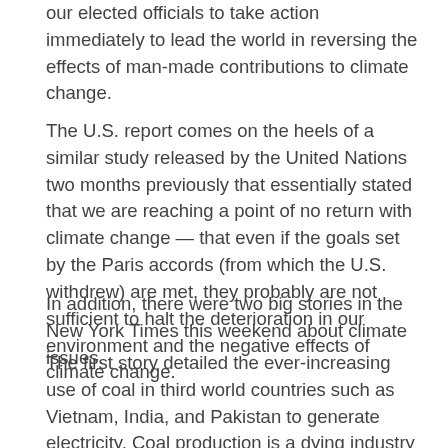our elected officials to take action immediately to lead the world in reversing the effects of man-made contributions to climate change.
The U.S. report comes on the heels of a similar study released by the United Nations two months previously that essentially stated that we are reaching a point of no return with climate change — that even if the goals set by the Paris accords (from which the U.S. withdrew) are met, they probably are not sufficient to halt the deterioration in our environment and the negative effects of climate change.
In addition, there were two big stories in the New York Times this weekend about climate issues.
The first story detailed the ever-increasing use of coal in third world countries such as Vietnam, India, and Pakistan to generate electricity. Coal production is a dying industry in the U.S. and other Western nations, but its low price and availability in third world countries, including China, has made it the fuel of choice in those developing countries.